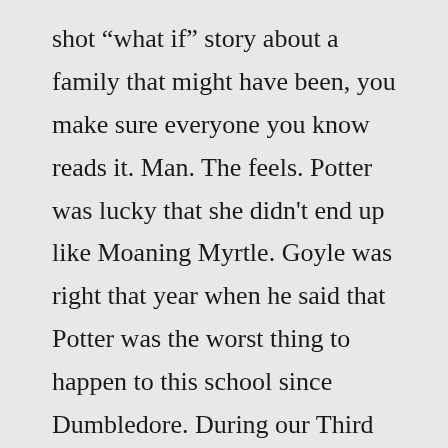shot “what if” story about a family that might have been, you make sure everyone you know reads it. Man. The feels. Potter was lucky that she didn’t end up like Moaning Myrtle. Goyle was right that year when he said that Potter was the worst thing to happen to this school since Dumbledore. During our Third Year, Potter brought those Dementors to the school. If the rumors could be believed, Sirius Black was heard